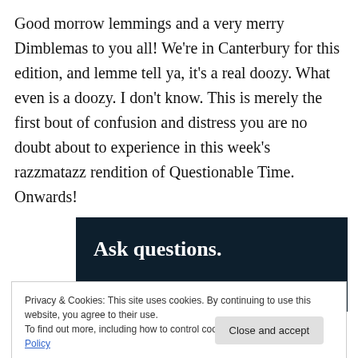Good morrow lemmings and a very merry Dimblemas to you all! We're in Canterbury for this edition, and lemme tell ya, it's a real doozy. What even is a doozy. I don't know. This is merely the first bout of confusion and distress you are no doubt about to experience in this week's razzmatazz rendition of Questionable Time. Onwards!
[Figure (other): Dark navy banner with bold white text reading 'Ask questions.']
Privacy & Cookies: This site uses cookies. By continuing to use this website, you agree to their use.
To find out more, including how to control cookies, see here: Cookie Policy